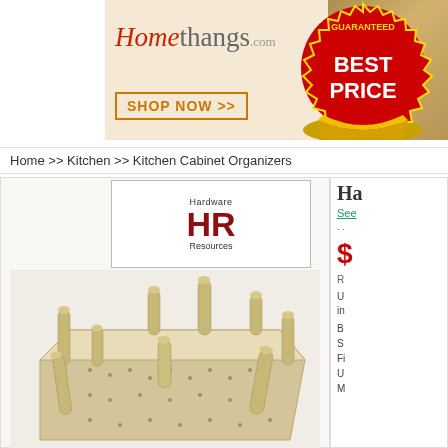[Figure (screenshot): Homethangs.com banner advertisement with Best Price Guaranteed badge, Shop Now button, and a decorative cabinet in the background]
Home >> Kitchen >> Kitchen Cabinet Organizers
[Figure (logo): Hardware Resources HR logo in red and black]
Ha...
See...
$
R...
U... in...
B... S... Fi... U... M...
[Figure (photo): Wooden peg board organizer for kitchen cabinet - a flat board with multiple wooden pegs inserted at various positions]